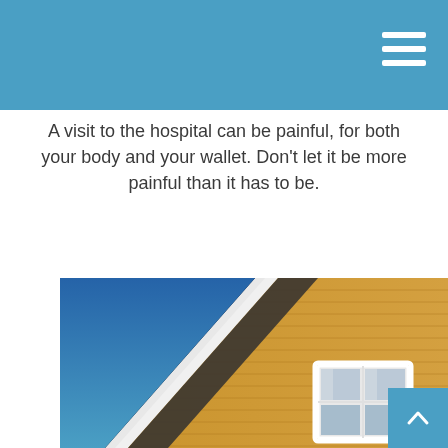A visit to the hospital can be painful, for both your body and your wallet. Don't let it be more painful than it has to be.
[Figure (photo): Close-up photo of a yellow cedar-shingled house roofline with white trim and a white window with curtains, against a clear deep blue sky.]